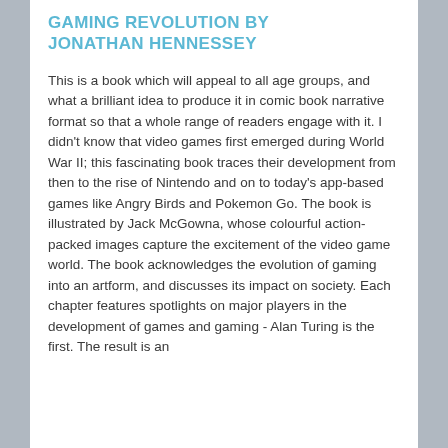GAMING REVOLUTION BY JONATHAN HENNESSEY
This is a book which will appeal to all age groups, and what a brilliant idea to produce it in comic book narrative format so that a whole range of readers engage with it. I didn't know that video games first emerged during World War II; this fascinating book traces their development from then to the rise of Nintendo and on to today's app-based games like Angry Birds and Pokemon Go. The book is illustrated by Jack McGowna, whose colourful action-packed images capture the excitement of the video game world. The book acknowledges the evolution of gaming into an artform, and discusses its impact on society. Each chapter features spotlights on major players in the development of games and gaming - Alan Turing is the first. The result is an